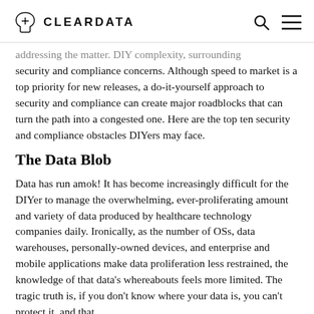CLEARDATA
addressing the matter. DIY complexity, surrounding security and compliance concerns. Although speed to market is a top priority for new releases, a do-it-yourself approach to security and compliance can create major roadblocks that can turn the path into a congested one. Here are the top ten security and compliance obstacles DIYers may face.
The Data Blob
Data has run amok! It has become increasingly difficult for the DIYer to manage the overwhelming, ever-proliferating amount and variety of data produced by healthcare technology companies daily. Ironically, as the number of OSs, data warehouses, personally-owned devices, and enterprise and mobile applications make data proliferation less restrained, the knowledge of that data's whereabouts feels more limited. The tragic truth is, if you don't know where your data is, you can't protect it, and that